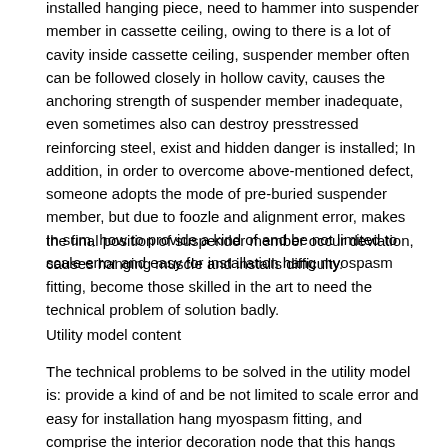installed hanging piece, need to hammer into suspender member in cassette ceiling, owing to there is a lot of cavity inside cassette ceiling, suspender member often can be followed closely in hollow cavity, causes the anchoring strength of suspender member inadequate, even sometimes also can destroy presstressed reinforcing steel, exist and hidden danger is installed; In addition, in order to overcome above-mentioned defect, someone adopts the mode of pre-buried suspender member, but due to foozle and alignment error, makes the final position of suspender member occur deviation, causes hanging muscle and installs difficulty.
In sum, how to provide a kind of and be not limited to scale error and easy for installation hang myospasm fitting, become those skilled in the art to need the technical problem of solution badly.
Utility model content
The technical problems to be solved in the utility model is: provide a kind of and be not limited to scale error and easy for installation hang myospasm fitting, and comprise the interior decoration node that this hangs myospasm fitting.